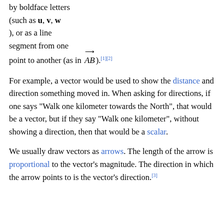by boldface letters (such as u, v, w), or as a line segment from one point to another (as in AB).[1][2]
For example, a vector would be used to show the distance and direction something moved in. When asking for directions, if one says "Walk one kilometer towards the North", that would be a vector, but if they say "Walk one kilometer", without showing a direction, then that would be a scalar.
We usually draw vectors as arrows. The length of the arrow is proportional to the vector's magnitude. The direction in which the arrow points to is the vector's direction.[3]